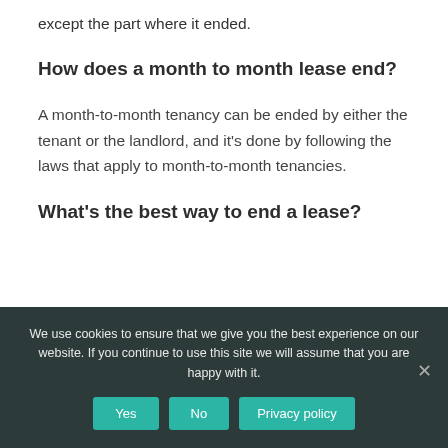except the part where it ended.
How does a month to month lease end?
A month-to-month tenancy can be ended by either the tenant or the landlord, and it's done by following the laws that apply to month-to-month tenancies.
What's the best way to end a lease?
We use cookies to ensure that we give you the best experience on our website. If you continue to use this site we will assume that you are happy with it.